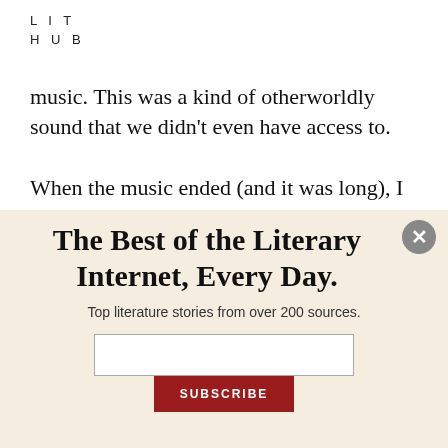LIT
HUB
music. This was a kind of otherworldly sound that we didn't even have access to.
When the music ended (and it was long), I got up slowly without any anxiety and rewound the tape. It played again. I could not fathom how beautiful it was. I snuck out and stood in the
The Best of the Literary Internet, Every Day.
Top literature stories from over 200 sources.
SUBSCRIBE